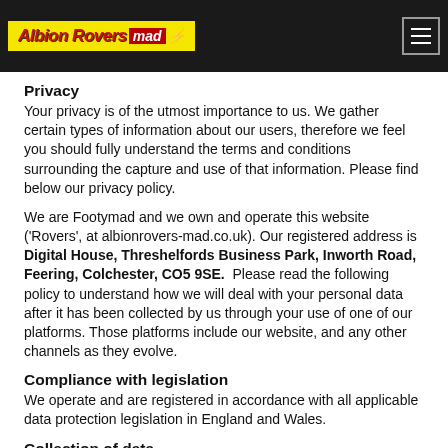Albion Rovers mad — navigation header
Privacy
Your privacy is of the utmost importance to us. We gather certain types of information about our users, therefore we feel you should fully understand the terms and conditions surrounding the capture and use of that information. Please find below our privacy policy.
We are Footymad and we own and operate this website ('Rovers', at albionrovers-mad.co.uk). Our registered address is Digital House, Threshelfords Business Park, Inworth Road, Feering, Colchester, CO5 9SE. Please read the following policy to understand how we will deal with your personal data after it has been collected by us through your use of one of our platforms. Those platforms include our website, and any other channels as they evolve.
Compliance with legislation
We operate and are registered in accordance with all applicable data protection legislation in England and Wales.
Collection of data